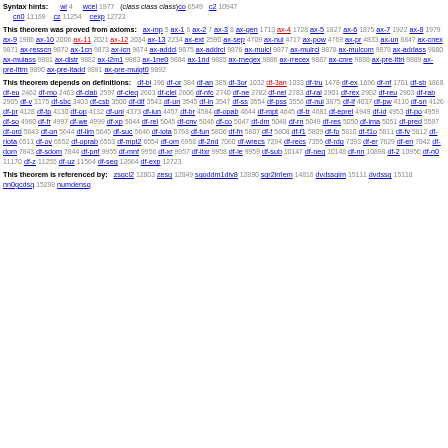Syntax hints: wi 4  wcel 1977  (class class class)co 6549  c2 10947  cn0 11169  cz 11254  cexp 12722
This theorem was proved from axioms: ax-mp 5 ax-1 6 ax-2 7 ax-3 8 ax-gen 1713 ax-4 1728 ax-5 1827 ax-6 1875 ax-7 1922 ax-8 1979 ax-9 1986 ax-10 2006 ax-11 2021 ax-12 2034 ax-13 2234 ax-ext 2590 ax-sep 4709 ax-nul 4717 ax-pow 4769 ax-pr 4833 ax-un 6847 ax-cnex 9871 ax-resscn 9872 ax-1cn 9873 ax-icn 9874 ax-addcl 9875 ax-addrcl 9876 ax-mulcl 9877 ax-mulrcl 9878 ax-mulcom 9879 ax-addass 9880 ax-mulass 9881 ax-distr 9882 ax-i2m1 9883 ax-1ne0 9884 ax-1rid 9885 ax-rnegex 9886 ax-rrecex 9887 ax-cnre 9888 ax-pre-lttri 9889 ax-pre-lttrn 9890 ax-pre-ltadd 9891 ax-pre-mulgt0 9892
This theorem depends on definitions: df-bi 196 df-or 384 df-an 385 df-3or 1032 df-3an 1033 df-tru 1478 df-ex 1696 df-nf 1701 df-sb 1868 df-eu 2462 df-mo 2463 df-clab 2597 df-cleq 2603 df-clel 2606 df-nfc 2740 df-ne 2782 df-nel 2783 df-ral 2901 df-rex 2902 df-reu 2903 df-rab 2905 df-v 3175 df-sbc 3403 df-csb 3500 df-dif 3543 df-un 3545 df-in 3547 df-ss 3554 df-pss 3556 df-nul 3875 df-if 4037 df-pw 4110 df-sn 4126 df-pr 4128 df-tp 4130 df-op 4132 df-uni 4373 df-iun 4457 df-br 4584 df-opab 4644 df-mpt 4645 df-tr 4681 df-eprel 4949 df-id 4953 df-po 4959 df-so 4960 df-fr 4997 df-we 4999 df-xp 5044 df-rel 5045 df-cnv 5046 df-co 5047 df-dm 5048 df-rn 5049 df-res 5050 df-ima 5051 df-pred 5597 df-ord 5643 df-on 5644 df-lim 5645 df-suc 5646 df-iota 5768 df-fun 5806 df-fn 5807 df-f 5808 df-f1 5809 df-fo 5810 df-f1o 5811 df-fv 5812 df-riota 6511 df-ov 6552 df-oprab 6553 df-mpt2 6554 df-om 6958 df-2nd 7060 df-wrecs 7294 df-recs 7355 df-rdg 7393 df-er 7629 df-en 7842 df-dom 7843 df-sdom 7844 df-pnf 9955 df-mnf 9956 df-xr 9957 df-ltxr 9958 df-le 9959 df-sub 10147 df-neg 10148 df-nn 10898 df-2 10956 df-n0 11170 df-z 11255 df-uz 11564 df-seq 12664 df-exp 12723
This theorem is referenced by: zsqcl2 12803 zesq 12849 sqoddm1div8 12890 sqr2irrlem 14816 dvdssqim 15111 dvdssq 15118 nn0gcdsq 15298 numdensq